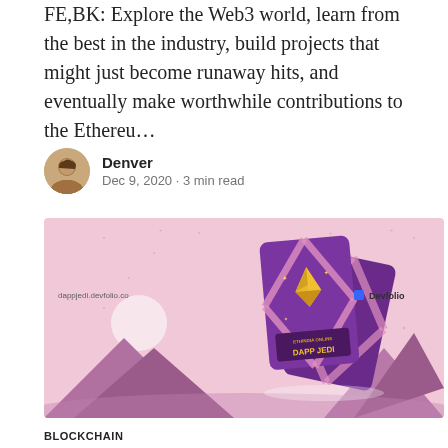FE,BK: Explore the Web3 world, learn from the best in the industry, build projects that might just become runaway hits, and eventually make worthwhile contributions to the Ethereu…
Denver
Dec 9, 2020 · 3 min read
[Figure (illustration): Banner image for ETHIndia Online Dapp Jedi hackathon on Devfolio. Pink/purple background with stylized mountains and two purple cards featuring the Ethereum diamond logo and text 'ETHIndia Online Dapp Jedi'.]
BLOCKCHAIN
Announcing the winners of the ETHIndia Online: Dapp Jedi hackathon 🗡